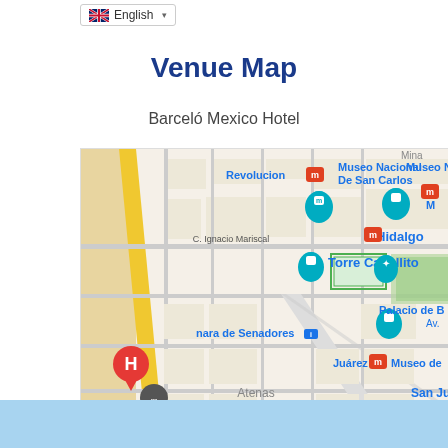English
Venue Map
Barceló Mexico Hotel
[Figure (map): Google map showing area around Barceló Mexico Hotel in Mexico City, near Torre Caballito, Museo Nacional De San Carlos, Hidalgo metro station, Palacio de Bellas Artes, Camara de Senadores, Juárez metro station, with streets including C. Ignacio Mariscal, Atenas, Calle Gral.]